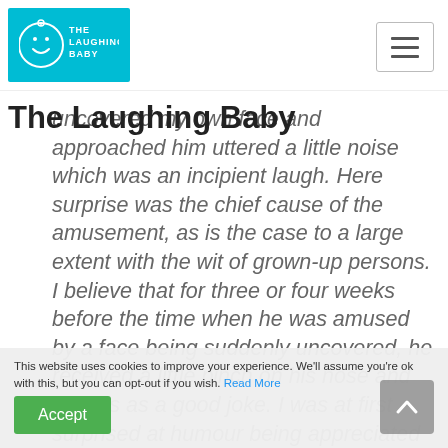The Laughing Baby — site header with logo and hamburger menu
The Laughing Baby
uncovered my own face and approached him uttered a little noise which was an incipient laugh. Here surprise was the chief cause of the amusement, as is the case to a large extent with the wit of grown-up persons. I believe that for three or four weeks before the time when he was amused by a face being suddenly uncovered, he received a little pinch on his nose and cheeks as a good joke. I was at first surprised at humour being appreciated by an infant only a little above the age at which it
This website uses cookies to improve your experience. We'll assume you're ok with this, but you can opt-out if you wish. Read More
Accept